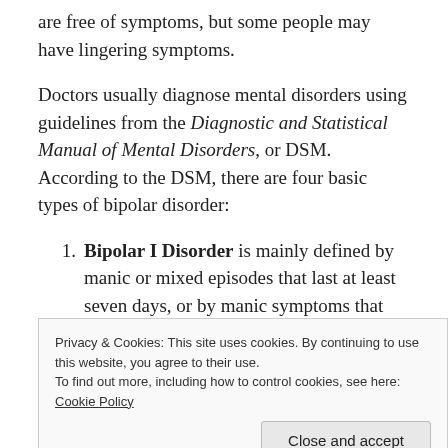are free of symptoms, but some people may have lingering symptoms.
Doctors usually diagnose mental disorders using guidelines from the Diagnostic and Statistical Manual of Mental Disorders, or DSM. According to the DSM, there are four basic types of bipolar disorder:
Bipolar I Disorder is mainly defined by manic or mixed episodes that last at least seven days, or by manic symptoms that are so severe that the person needs immediate hospital care. Usually,
Privacy & Cookies: This site uses cookies. By continuing to use this website, you agree to their use. To find out more, including how to control cookies, see here: Cookie Policy
Bipolar II Disorder is defined by a pattern of